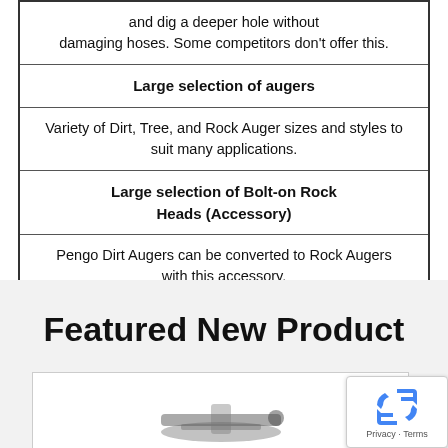| and dig a deeper hole without
damaging hoses. Some competitors don't offer this. |
| Large selection of augers |
| Variety of Dirt, Tree, and Rock Auger sizes and styles to suit many applications. |
| Large selection of Bolt-on Rock
Heads (Accessory) |
| Pengo Dirt Augers can be converted to Rock Augers
with this accessory. |
Featured New Product
[Figure (photo): Product image of a Pengo auger accessory, partially visible at the bottom of the page]